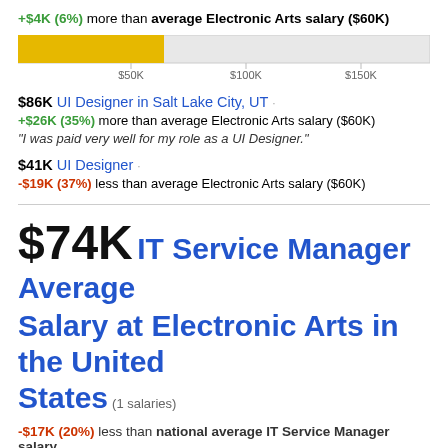+$4K (6%) more than average Electronic Arts salary ($60K)
[Figure (bar-chart): Salary bar]
$86K UI Designer in Salt Lake City, UT · +$26K (35%) more than average Electronic Arts salary ($60K)
"I was paid very well for my role as a UI Designer."
$41K UI Designer · -$19K (37%) less than average Electronic Arts salary ($60K)
$74K IT Service Manager Average Salary at Electronic Arts in the United States (1 salaries)
-$17K (20%) less than national average IT Service Manager salary